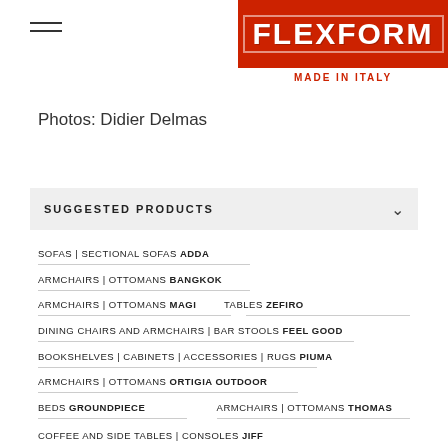FLEXFORM MADE IN ITALY
Photos: Didier Delmas
SUGGESTED PRODUCTS
SOFAS | SECTIONAL SOFAS ADDA
ARMCHAIRS | OTTOMANS BANGKOK
ARMCHAIRS | OTTOMANS MAGI    TABLES ZEFIRO
DINING CHAIRS AND ARMCHAIRS | BAR STOOLS FEEL GOOD
BOOKSHELVES | CABINETS | ACCESSORIES | RUGS PIUMA
ARMCHAIRS | OTTOMANS ORTIGIA OUTDOOR
BEDS GROUNDPIECE    ARMCHAIRS | OTTOMANS THOMAS
COFFEE AND SIDE TABLES | CONSOLES JIFF